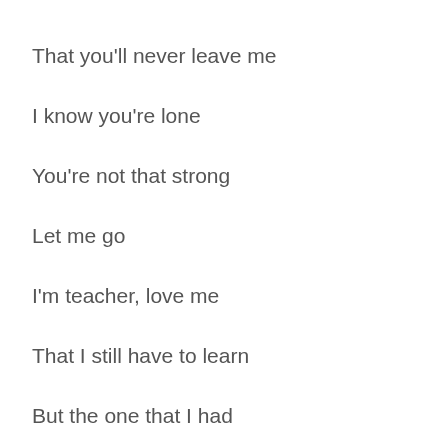That you'll never leave me
I know you're lone
You're not that strong
Let me go
I'm teacher, love me
That I still have to learn
But the one that I had